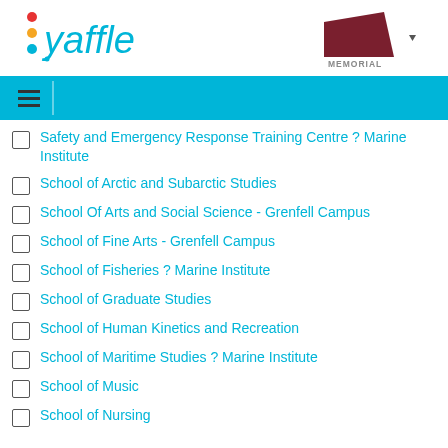[Figure (logo): Yaffle logo with colorful dots and blue text]
[Figure (logo): Memorial University logo with dark red graphic and text]
Safety and Emergency Response Training Centre ? Marine Institute
School of Arctic and Subarctic Studies
School Of Arts and Social Science - Grenfell Campus
School of Fine Arts - Grenfell Campus
School of Fisheries ? Marine Institute
School of Graduate Studies
School of Human Kinetics and Recreation
School of Maritime Studies ? Marine Institute
School of Music
School of Nursing